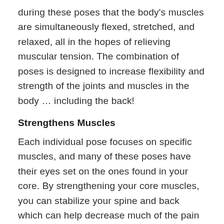during these poses that the body's muscles are simultaneously flexed, stretched, and relaxed, all in the hopes of relieving muscular tension. The combination of poses is designed to increase flexibility and strength of the joints and muscles in the body … including the back!
Strengthens Muscles
Each individual pose focuses on specific muscles, and many of these poses have their eyes set on the ones found in your core. By strengthening your core muscles, you can stabilize your spine and back which can help decrease much of the pain you are feeling.
Promotes Meditation
The deep breathing exercises that are used during